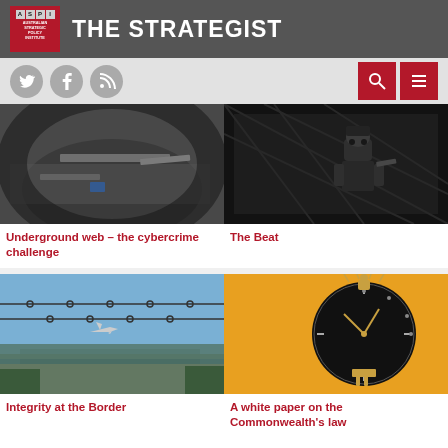THE STRATEGIST — Australian Strategic Policy Institute
[Figure (screenshot): Navigation bar with social icons (Twitter, Facebook, RSS) and search/menu buttons]
[Figure (photo): Black and white photo of scattered items on ground, underground/crime themed]
[Figure (photo): Black and white photo of a LEGO detective figure]
Underground web – the cybercrime challenge
The Beat
[Figure (photo): Photo of barbed wire fence with an airplane landing in background against blue sky]
[Figure (photo): Photo of a compass/clock on yellow background with a small figurine]
Integrity at the Border
A white paper on the Commonwealth's law